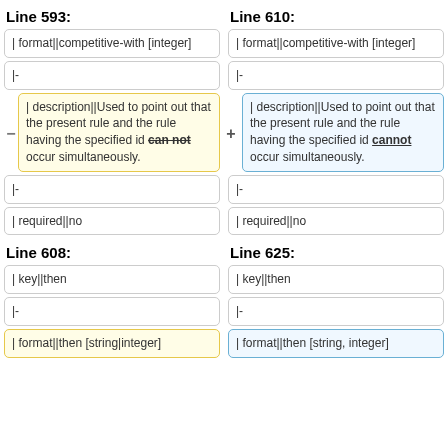Line 593:
Line 610:
| format||competitive-with [integer]
| format||competitive-with [integer]
|-
|-
| description||Used to point out that the present rule and the rule having the specified id cannot occur simultaneously.
| description||Used to point out that the present rule and the rule having the specified id cannot occur simultaneously.
|-
|-
| required||no
| required||no
Line 608:
Line 625:
| key||then
| key||then
|-
|-
| format||then [string|integer]
| format||then [string, integer]